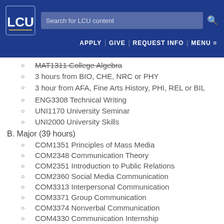LCU navigation bar with logo, search, APPLY | GIVE | REQUEST INFO | MENU
MAT1311  College Algebra
3 hours from BIO, CHE, NRC or PHY
3 hour from AFA, Fine Arts History, PHI, REL or BIL
ENG3308  Technical Writing
UNI1170  University Seminar
UNI2000  University Skills
B. Major (39 hours)
COM1351  Principles of Mass Media
COM2348  Communication Theory
COM2351  Introduction to Public Relations
COM2360  Social Media Communication
COM3313  Interpersonal Communication
COM3371  Group Communication
COM3374  Nonverbal Communication
COM4330  Communication Internship